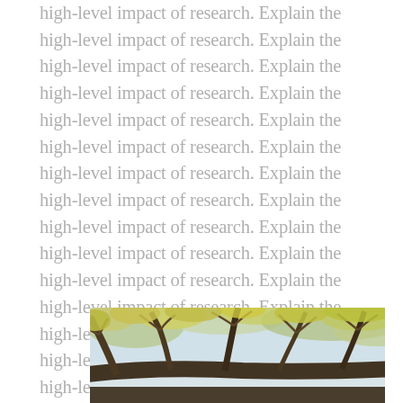high-level impact of research. Explain the high-level impact of research. Explain the high-level impact of research. Explain the high-level impact of research. Explain the high-level impact of research. Explain the high-level impact of research. Explain the high-level impact of research. Explain the high-level impact of research. Explain the high-level impact of research. Explain the high-level impact of research. Explain the high-level impact of research. Explain the high-level impact of research. Explain the high-level impact of research. Explain the high-level impact of research. Explain the high-level impact of research. Explain the high-level impact of research. Explain the high-level impact of research.
[Figure (photo): Photograph of tree branches with yellow-green foliage against a light sky, taken from below looking up.]